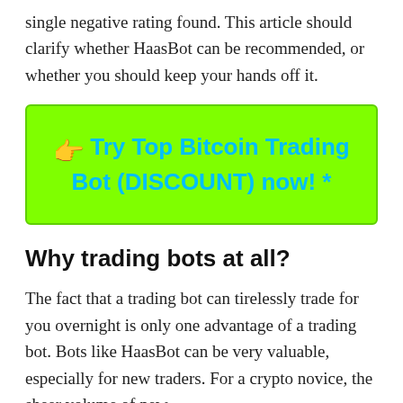single negative rating found. This article should clarify whether HaasBot can be recommended, or whether you should keep your hands off it.
[Figure (infographic): Green call-to-action button with orange arrow emoji and cyan bold text: Try Top Bitcoin Trading Bot (DISCOUNT) now! *]
Why trading bots at all?
The fact that a trading bot can tirelessly trade for you overnight is only one advantage of a trading bot. Bots like HaasBot can be very valuable, especially for new traders. For a crypto novice, the sheer volume of new